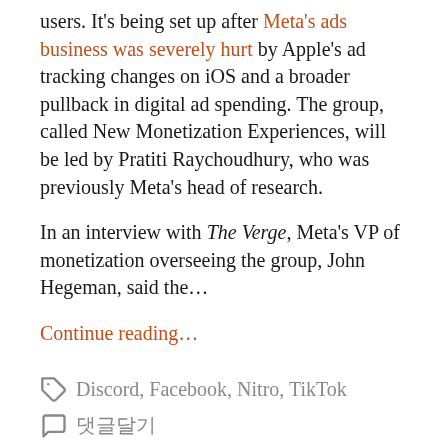users. It's being set up after Meta's ads business was severely hurt by Apple's ad tracking changes on iOS and a broader pullback in digital ad spending. The group, called New Monetization Experiences, will be led by Pratiti Raychoudhury, who was previously Meta's head of research.
In an interview with The Verge, Meta's VP of monetization overseeing the group, John Hegeman, said the…
Continue reading…
Discord, Facebook, Nitro, TikTok
댓글달기